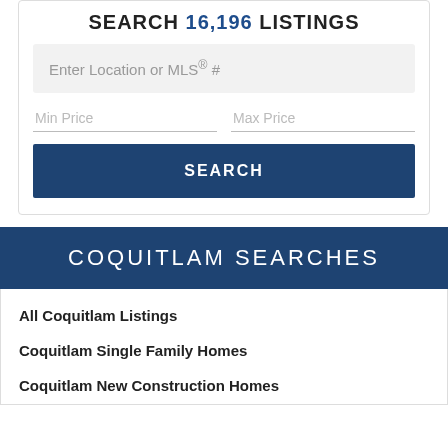SEARCH 16,196 LISTINGS
Enter Location or MLS® #
Min Price
Max Price
SEARCH
COQUITLAM SEARCHES
All Coquitlam Listings
Coquitlam Single Family Homes
Coquitlam New Construction Homes